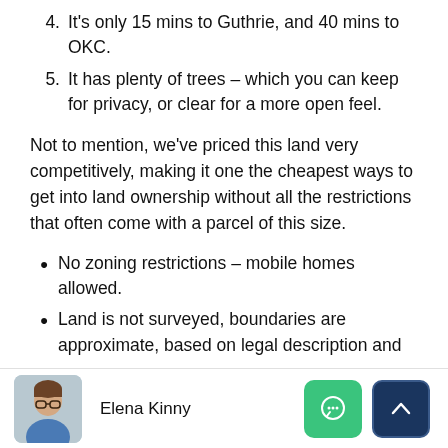4. It's only 15 mins to Guthrie, and 40 mins to OKC.
5. It has plenty of trees – which you can keep for privacy, or clear for a more open feel.
Not to mention, we've priced this land very competitively, making it one the cheapest ways to get into land ownership without all the restrictions that often come with a parcel of this size.
No zoning restrictions – mobile homes allowed.
Land is not surveyed, boundaries are approximate, based on legal description and
Elena Kinny